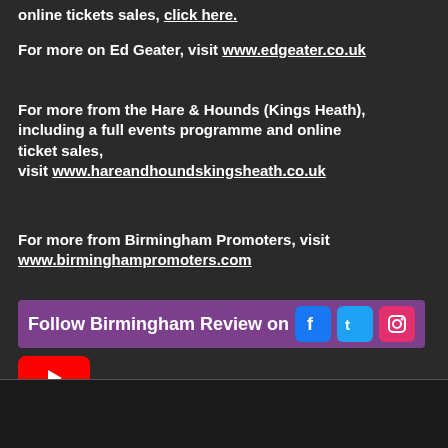online tickets sales, click here.
For more on Ed Geater, visit www.edgeater.co.uk
For more from the Hare & Hounds (Kings Heath), including a full events programme and online ticket sales, visit www.hareandhoundskingsheath.co.uk
For more from Birmingham Promoters, visit www.birminghampromoters.com
Follow Birmingham Review on [Facebook] [Twitter] [Instagram] [YouTube]